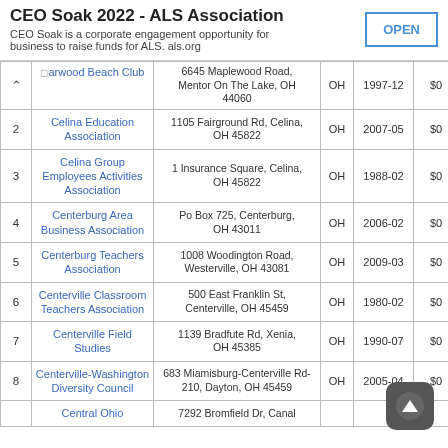CEO Soak 2022 - ALS Association
CEO Soak is a corporate engagement opportunity for business to raise funds for ALS. als.org
| # | Name | Address | State | Date | Amount |
| --- | --- | --- | --- | --- | --- |
|  | Harwood Beach Club | 6645 Maplewood Road, Mentor On The Lake, OH 44060 | OH | 1997-12 | $0 |
| 2 | Celina Education Association | 1105 Fairground Rd, Celina, OH 45822 | OH | 2007-05 | $0 |
| 3 | Celina Group Employees Activities Association | 1 Insurance Square, Celina, OH 45822 | OH | 1988-02 | $0 |
| 4 | Centerburg Area Business Association | Po Box 725, Centerburg, OH 43011 | OH | 2006-02 | $0 |
| 5 | Centerburg Teachers Association | 1008 Woodington Road, Westerville, OH 43081 | OH | 2009-03 | $0 |
| 6 | Centerville Classroom Teachers Association | 500 East Franklin St, Centerville, OH 45459 | OH | 1980-02 | $0 |
| 7 | Centerville Field Studies | 1139 Bradfute Rd, Xenia, OH 45385 | OH | 1990-07 | $0 |
| 8 | Centerville-Washington Diversity Council | 683 Miamisburg-Centerville Rd-210, Dayton, OH 45459 | OH | 2005-04 | $0 |
|  | Central Ohio | 7292 Bromfield Dr, Canal... | OH |  |  |